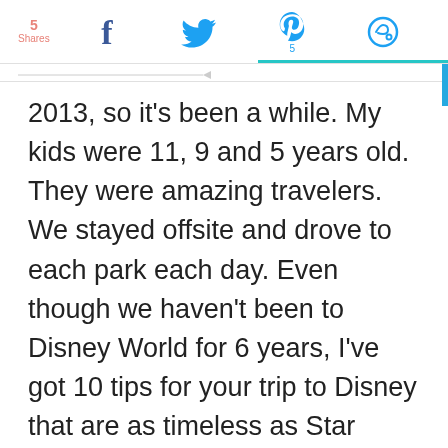5 Shares | Facebook | Twitter | Pinterest 5 | Other
2013, so it's been a while. My kids were 11, 9 and 5 years old. They were amazing travelers. We stayed offsite and drove to each park each day. Even though we haven't been to Disney World for 6 years, I've got 10 tips for your trip to Disney that are as timeless as Star Wars.